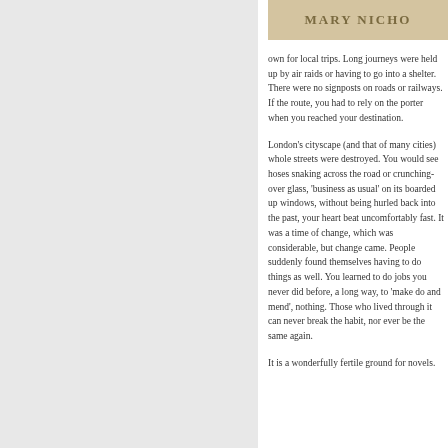[Figure (other): Author name banner: MARY NICHOL in uppercase serif text on a tan/beige background]
own for local trips. Long journeys were held up by air raids or having to go into a shelter. There were no signposts on roads or railways. If the route, you had to rely on the port... reached your destination.
London's cityscape (and that of man... whole streets were destroyed. You w... snaking across the road or crunching... 'business as usual' on its boarded up... without being hurled back into the pa... beat uncomfortably fast. It was a tim... which was considerable, but change... suddenly found themselves having to... well. You learned to do jobs you neve... a long way, to 'make do and mend',... who lived through it can never break... ever be the same again.
It is a wonderfully fertile ground for n...